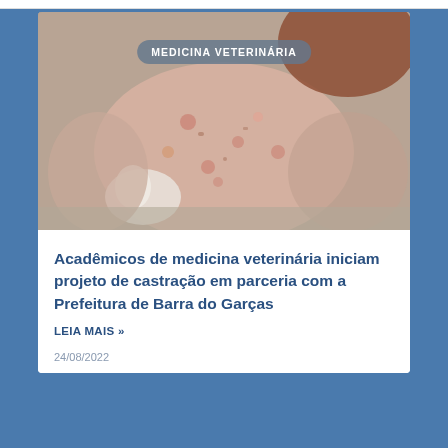[Figure (photo): A veterinary professional in a floral patterned gown and white gloves, handling an animal during what appears to be a medical procedure.]
MEDICINA VETERINÁRIA
Acadêmicos de medicina veterinária iniciam projeto de castração em parceria com a Prefeitura de Barra do Garças
LEIA MAIS »
24/08/2022